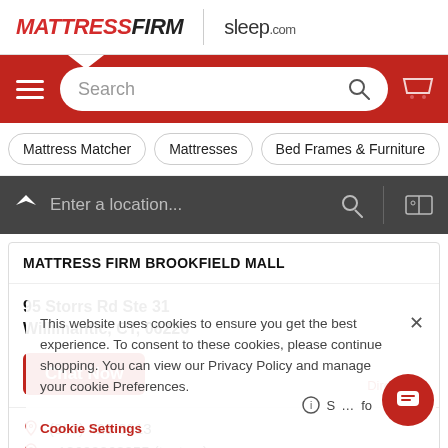[Figure (logo): MattressFirm logo and sleep.com logo in header]
[Figure (screenshot): Red navigation bar with hamburger menu, search box, and cart icon]
Mattress Matcher
Mattresses
Bed Frames & Furniture
Be
Enter a location...
MATTRESS FIRM BROOKFIELD MALL
95 Storrs Rd Ste 31
Willimantic, CT, 06226
Chat Now
Directions
(860) 423-3913
+18609263255 (text us)
This website uses cookies to ensure you get the best experience. To consent to these cookies, please continue shopping. You can view our Privacy Policy and manage your cookie Preferences.
Cookie Settings
S... Info